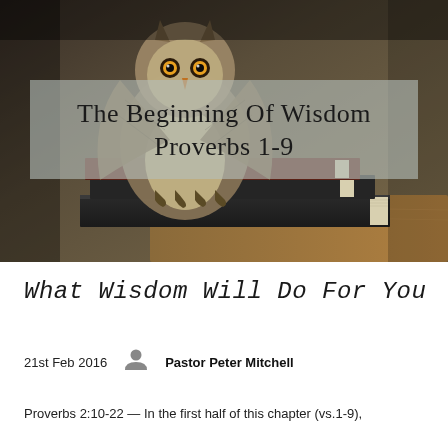[Figure (photo): An owl perched on a stack of books with a semi-transparent overlay showing the title 'The Beginning Of Wisdom Proverbs 1-9']
The Beginning Of Wisdom
Proverbs 1-9
What Wisdom Will Do For You
21st Feb 2016    Pastor Peter Mitchell
Proverbs 2:10-22 — In the first half of this chapter (vs.1-9),